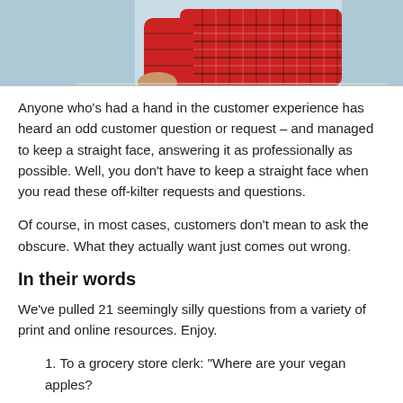[Figure (photo): Partial image of a person wearing a red plaid/checkered shirt, cropped to show torso and arms, against a light blue/teal background]
Anyone who’s had a hand in the customer experience has heard an odd customer question or request – and managed to keep a straight face, answering it as professionally as possible. Well, you don’t have to keep a straight face when you read these off-kilter requests and questions.
Of course, in most cases, customers don’t mean to ask the obscure. What they actually want just comes out wrong.
In their words
We’ve pulled 21 seemingly silly questions from a variety of print and online resources. Enjoy.
To a grocery store clerk: “Where are your vegan apples?